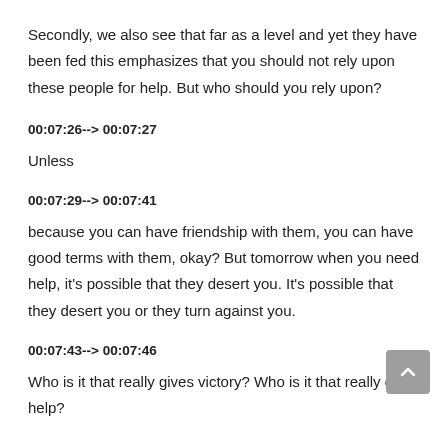Secondly, we also see that far as a level and yet they have been fed this emphasizes that you should not rely upon these people for help. But who should you rely upon?
00:07:26--> 00:07:27
Unless
00:07:29--> 00:07:41
because you can have friendship with them, you can have good terms with them, okay? But tomorrow when you need help, it's possible that they desert you. It's possible that they desert you or they turn against you.
00:07:43--> 00:07:46
Who is it that really gives victory? Who is it that really gives help?